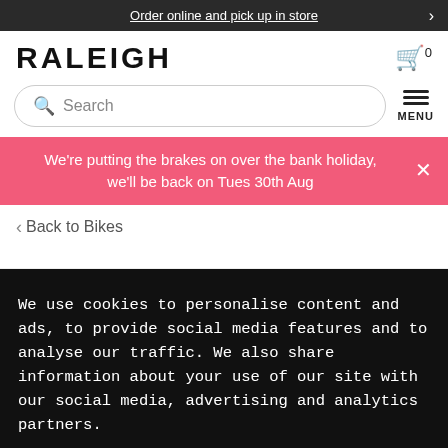Order online and pick up in store
[Figure (logo): Raleigh brand logo in bold black letters]
Search
We're putting the brakes on over the bank holiday, we'll be back on Tues 30th Aug
< Back to Bikes
We use cookies to personalise content and ads, to provide social media features and to analyse our traffic. We also share information about your use of our site with our social media, advertising and analytics partners.
Cookies Settings
Accept Cookies